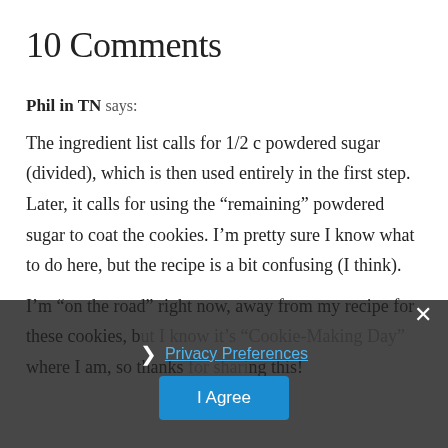10 Comments
Phil in TN says:
The ingredient list calls for 1/2 c powdered sugar (divided), which is then used entirely in the first step. Later, it calls for using the “remaining” powdered sugar to coat the cookies. I’m pretty sure I know what to do here, but the recipe is a bit confusing (I think).
I’m “on the road” right now, away from my recipe for these cookies, but I know it’s “Cookie-Making Day” where I am, so thanks for sharing this!
Privacy Preferences
I Agree